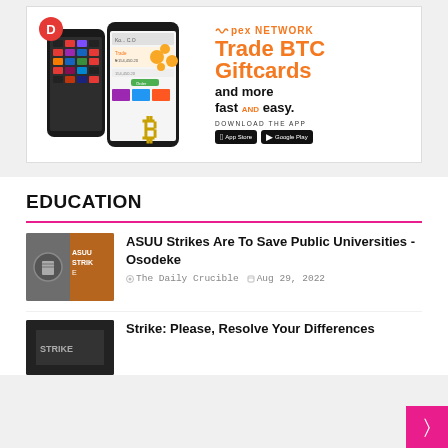[Figure (illustration): Pex Network advertisement banner showing two smartphones with a trading app, a large gold Bitcoin symbol, coins, and text reading 'Trade BTC Giftcards and more fast AND easy. DOWNLOAD THE APP' with App Store and Google Play buttons.]
EDUCATION
[Figure (photo): Thumbnail image showing ASUU Strike related imagery]
ASUU Strikes Are To Save Public Universities - Osodeke
The Daily Crucible  Aug 29, 2022
[Figure (photo): Thumbnail image for Strike article]
Strike: Please, Resolve Your Differences